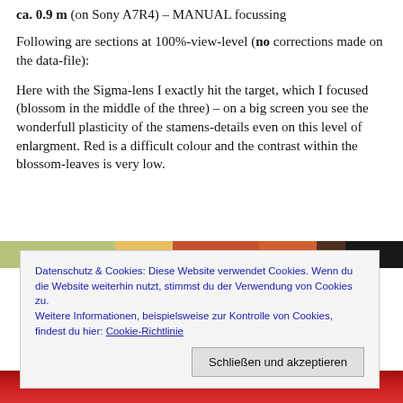ca. 0.9 m (on Sony A7R4) – MANUAL focussing
Following are sections at 100%-view-level (no corrections made on the data-file):
Here with the Sigma-lens I exactly hit the target, which I focused (blossom in the middle of the three) – on a big screen you see the wonderfull plasticity of the stamens-details even on this level of enlargment. Red is a difficult colour and the contrast within the blossom-leaves is very low.
[Figure (photo): Partial view of a colorful flower photograph, showing green and red tones at the top strip]
Datenschutz & Cookies: Diese Website verwendet Cookies. Wenn du die Website weiterhin nutzt, stimmst du der Verwendung von Cookies zu.
Weitere Informationen, beispielsweise zur Kontrolle von Cookies, findest du hier: Cookie-Richtlinie
[Figure (photo): Bottom strip of red flower photograph]